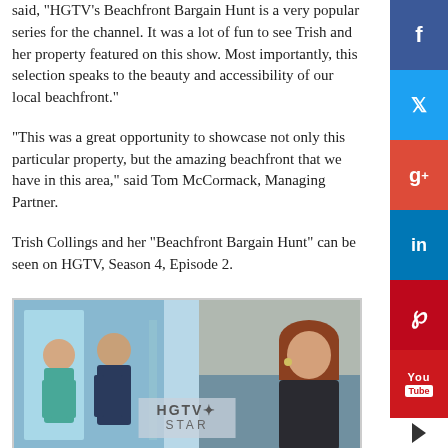said, “HGTV’s Beachfront Bargain Hunt is a very popular series for the channel. It was a lot of fun to see Trish and her property featured on this show. Most importantly, this selection speaks to the beauty and accessibility of our local beachfront.”
“This was a great opportunity to showcase not only this particular property, but the amazing beachfront that we have in this area,” said Tom McCormack, Managing Partner.
Trish Collings and her “Beachfront Bargain Hunt” can be seen on HGTV, Season 4, Episode 2.
[Figure (photo): Screenshot of HGTV show featuring multiple people, with HGTV Star logo overlay at bottom center]